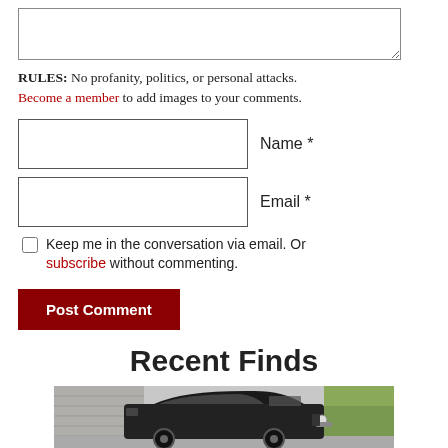[textarea comment box]
RULES: No profanity, politics, or personal attacks. Become a member to add images to your comments.
Name *
Email *
Keep me in the conversation via email. Or subscribe without commenting.
Post Comment
Recent Finds
[Figure (photo): Partial view of a vintage/classic dark-colored car (appears to be an old truck or coupe) photographed in a driveway or yard setting.]